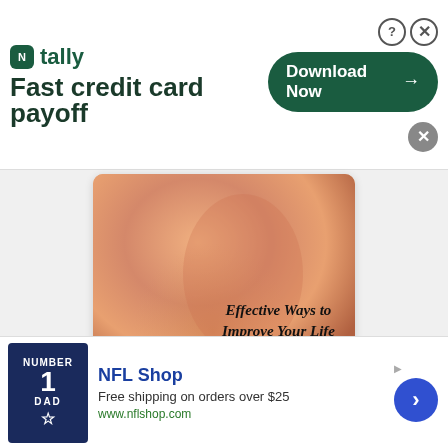[Figure (other): Tally app advertisement banner with logo, 'Fast credit card payoff' tagline, and 'Download Now' button]
[Figure (other): Book advertisement showing 'Effective Ways to Improve Your Life' cover with orange/warm tones, red bar with 'Potentials' and 'Shop Now']
[Figure (other): Partial image strip showing clothing/fabric texture in blue and brown tones]
[Figure (other): NFL Shop advertisement with Dallas Cowboys jersey image, 'NFL Shop', 'Free shipping on orders over $25', 'www.nflshop.com']